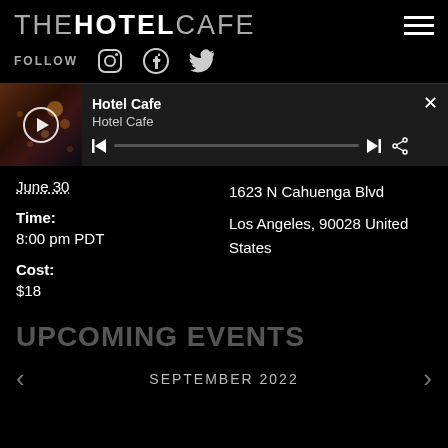THE HOTEL CAFE
FOLLOW
[Figure (screenshot): Hotel Cafe media player bar with thumbnail, play button, track info 'Hotel Cafe / Hotel Cafe', progress bar, skip controls, share icon, and close button]
June 30
1623 N Cahuenga Blvd
Los Angeles, 90028 United States
Time:
8:00 pm PDT
Cost:
$18
UPCOMING EVENTS
SEPTEMBER 2022